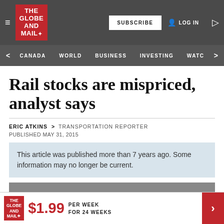THE GLOBE AND MAIL — SUBSCRIBE | LOG IN
CANADA  WORLD  BUSINESS  INVESTING  WATC
Rail stocks are mispriced, analyst says
ERIC ATKINS  >  TRANSPORTATION REPORTER
PUBLISHED MAY 31, 2015
This article was published more than 7 years ago. Some information may no longer be current.
[Figure (photo): Partially visible news photo at bottom of article]
THE GLOBE AND MAIL — $1.99 PER WEEK FOR 24 WEEKS